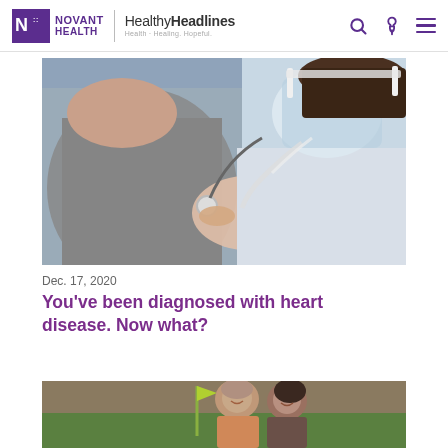Novant Health | HealthyHeadlines — Health. Healing. Hopeful.
[Figure (photo): A female healthcare provider wearing a face mask and face shield uses a stethoscope to examine a male patient in a gray t-shirt.]
Dec. 17, 2020
You've been diagnosed with heart disease. Now what?
[Figure (photo): A couple smiling outdoors on a golf course with a yellow flag in the background.]